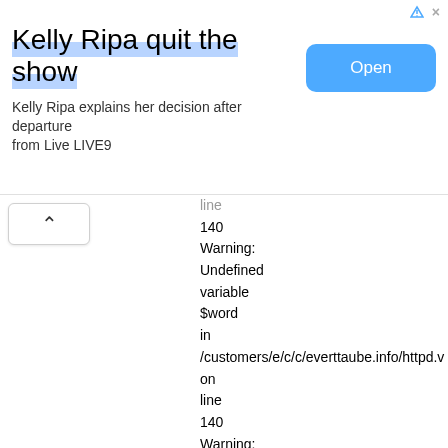[Figure (screenshot): Advertisement banner: Kelly Ripa quit the show - Kelly Ripa explains her decision after departure from Live LIVE9, with an Open button]
line
140
Warning: Undefined variable $word in /customers/e/c/c/everttaube.info/httpd.v on line 140
Warning: Undefined variable $word in /customers/e/c/c/everttaube.info/httpd.v on line 140
Warning: Undefined variable $word in /customers/e/c/c/everttaube.info/httpd.v on line 140
Warning: Undefined variable $word